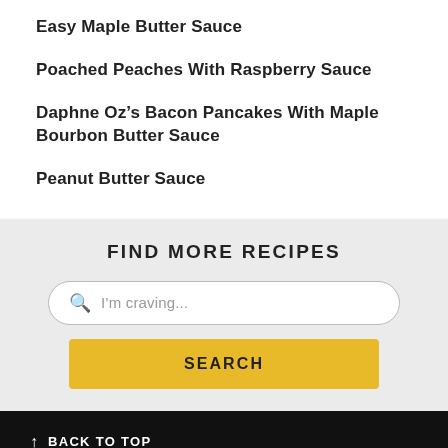Easy Maple Butter Sauce
Poached Peaches With Raspberry Sauce
Daphne Oz’s Bacon Pancakes With Maple Bourbon Butter Sauce
Peanut Butter Sauce
FIND MORE RECIPES
I’m craving...
SEARCH
↑ BACK TO TOP